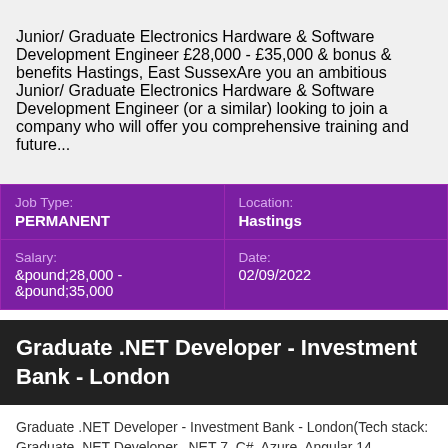Junior/ Graduate Electronics Hardware & Software Development Engineer £28,000 - £35,000 & bonus & benefits Hastings, East SussexAre you an ambitious Junior/ Graduate Electronics Hardware & Software Development Engineer (or a similar) looking to join a company who will offer you comprehensive training and future...
| Job Type:
PERMANENT | Location:
Hastings |
| Salary:
&pound;28,000 - &pound;35,000 | Date:
02/09/2022 |
Graduate .NET Developer - Investment Bank - London
Graduate .NET Developer - Investment Bank - London(Tech stack: Graduate .NET Developer, .NET 7, C#, Azure, Angular 14, Multithreading, RESTful, Web API 2, JavaScript, Programmer, Full Stack Engineer, Architect, Graduate .NET